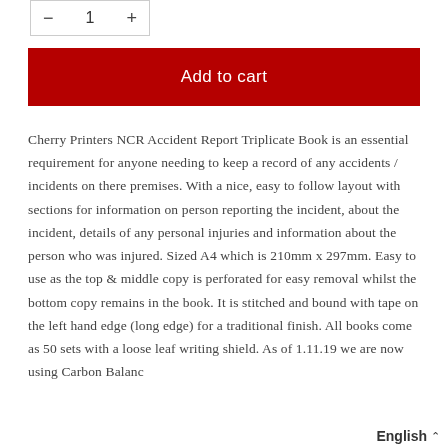[Figure (other): Quantity selector with minus, 1, plus controls in a bordered box]
Add to cart
Cherry Printers NCR Accident Report Triplicate Book is an essential requirement for anyone needing to keep a record of any accidents / incidents on there premises. With a nice, easy to follow layout with sections for information on person reporting the incident, about the incident, details of any personal injuries and information about the person who was injured. Sized A4 which is 210mm x 297mm. Easy to use as the top & middle copy is perforated for easy removal whilst the bottom copy remains in the book. It is stitched and bound with tape on the left hand edge (long edge) for a traditional finish. All books come as 50 sets with a loose leaf writing shield. As of 1.11.19 we are now using Carbon Balanc
English